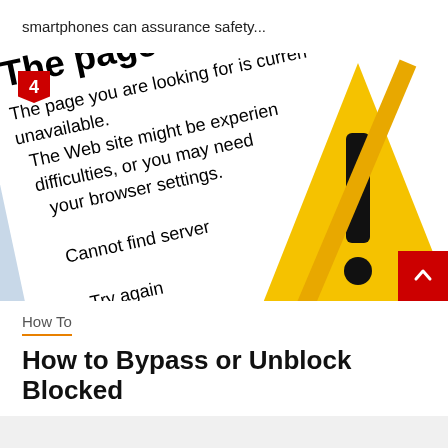smartphones can assurance safety...
[Figure (screenshot): Screenshot of a browser 'page cannot be displayed' error message overlaid with a yellow warning triangle (exclamation mark). A red badge with the number 4 appears in the top-left. A red back-to-top button appears in the bottom-right corner.]
How To
How to Bypass or Unblock Blocked